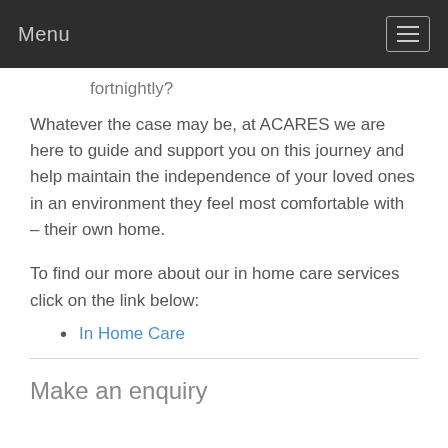Menu
fortnightly?
Whatever the case may be, at ACARES we are here to guide and support you on this journey and help maintain the independence of your loved ones in an environment they feel most comfortable with – their own home.
To find our more about our in home care services click on the link below:
In Home Care
Make an enquiry